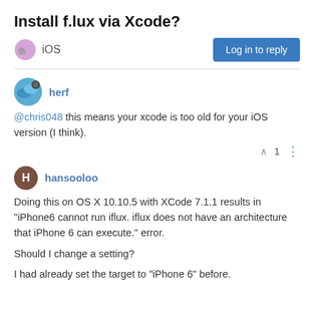Install f.lux via Xcode?
iOS
Log in to reply
herf
@chris048 this means your xcode is too old for your iOS version (I think).
1
hansooloo
Doing this on OS X 10.10.5 with XCode 7.1.1 results in "iPhone6 cannot run iflux. iflux does not have an architecture that iPhone 6 can execute." error.
Should I change a setting?
I had already set the target to "iPhone 6" before.